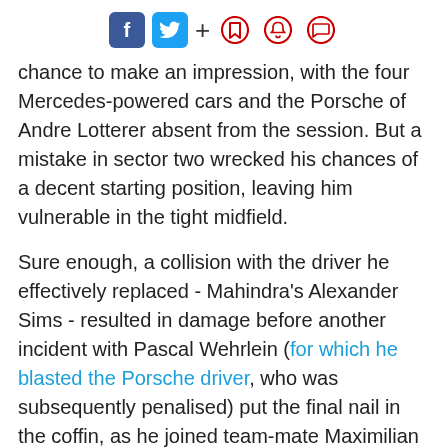Social sharing icons: Facebook, Twitter, plus, bookmark, notification, comment
chance to make an impression, with the four Mercedes-powered cars and the Porsche of Andre Lotterer absent from the session. But a mistake in sector two wrecked his chances of a decent starting position, leaving him vulnerable in the tight midfield.
Sure enough, a collision with the driver he effectively replaced - Mahindra's Alexander Sims - resulted in damage before another incident with Pascal Wehrlein (for which he blasted the Porsche driver, who was subsequently penalised) put the final nail in the coffin, as he joined team-mate Maximilian Gunther in the long list of retirees.
[Figure (other): Gray advertisement placeholder rectangle]